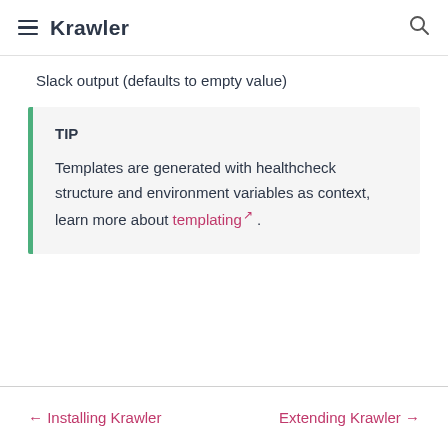Krawler
Slack output (defaults to empty value)
TIP
Templates are generated with healthcheck structure and environment variables as context, learn more about templating .
← Installing Krawler    Extending Krawler →